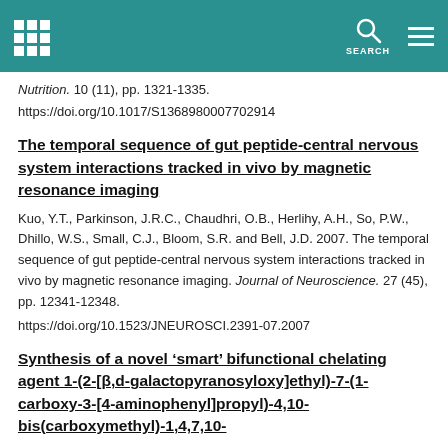SEARCH
Nutrition. 10 (11), pp. 1321-1335.
https://doi.org/10.1017/S1368980007702914
The temporal sequence of gut peptide-central nervous system interactions tracked in vivo by magnetic resonance imaging
Kuo, Y.T., Parkinson, J.R.C., Chaudhri, O.B., Herlihy, A.H., So, P.W., Dhillo, W.S., Small, C.J., Bloom, S.R. and Bell, J.D. 2007. The temporal sequence of gut peptide-central nervous system interactions tracked in vivo by magnetic resonance imaging. Journal of Neuroscience. 27 (45), pp. 12341-12348.
https://doi.org/10.1523/JNEUROSCI.2391-07.2007
Synthesis of a novel ‘smart’ bifunctional chelating agent 1-(2-[β,d-galactopyranosyloxy]ethyl)-7-(1-carboxy-3-[4-aminophenyl]propyl)-4,10-bis(carboxymethyl)-1,4,7,10-